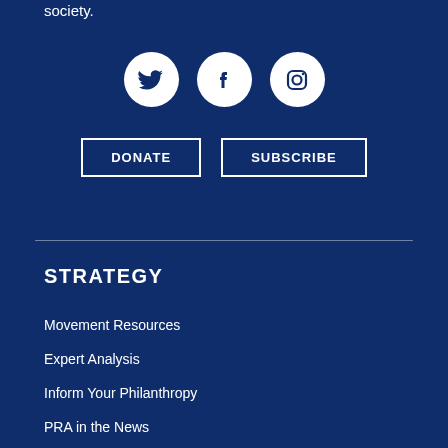society.
[Figure (illustration): Three white circular social media icons on dark blue background: Twitter bird, Facebook f, and Instagram camera]
DONATE   SUBSCRIBE
STRATEGY
Movement Resources
Expert Analysis
Inform Your Philanthropy
PRA in the News
Conversations & Convenings